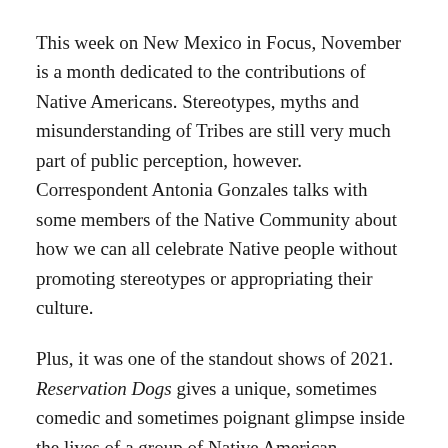This week on New Mexico in Focus, November is a month dedicated to the contributions of Native Americans. Stereotypes, myths and misunderstanding of Tribes are still very much part of public perception, however. Correspondent Antonia Gonzales talks with some members of the Native Community about how we can all celebrate Native people without promoting stereotypes or appropriating their culture.
Plus, it was one of the standout shows of 2021. Reservation Dogs gives a unique, sometimes comedic and sometimes poignant glimpse inside the lives of a group of Native American teenagers. Correspondent Laura Paskus explores what makes the show so unique, including the musical score. She talks to composer Mato Wayahi about his involvement and process.
Paskus also talks to New Mexico Environment Department Secretary James Kenney about some interesting new